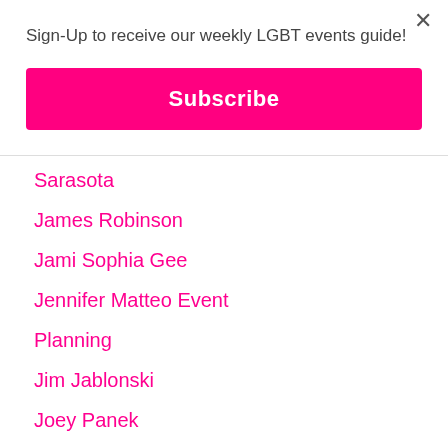Sign-Up to receive our weekly LGBT events guide!
Subscribe
Sarasota
James Robinson
Jami Sophia Gee
Jennifer Matteo Event Planning
Jim Jablonski
Joey Panek
John Secor
José Javier Rodríguez
Joseph Allen
Joshua Beadle